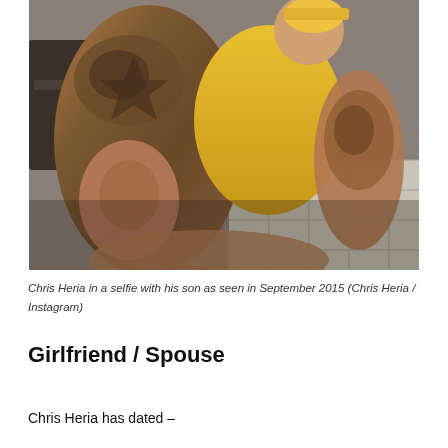[Figure (photo): A heavily tattooed person holding a young child wearing a yellow shirt, photographed indoors with tiled floor visible in background.]
Chris Heria in a selfie with his son as seen in September 2015 (Chris Heria / Instagram)
Girlfriend / Spouse
Chris Heria has dated –